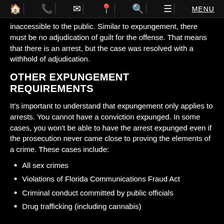🏠 📞 ✉ 📍 🔍 ☰ MENU
inaccessible to the public. Similar to expungement, there must be no adjudication of guilt for the offense. That means that there is an arrest, but the case was resolved with a withhold of adjudication.
OTHER EXPUNGEMENT REQUIREMENTS
It's important to understand that expungement only applies to arrests. You cannot have a conviction expunged. In some cases, you won't be able to have the arrest expunged even if the prosecution never came close to proving the elements of a crime. These cases include:
All sex crimes
Violations of Florida Communications Fraud Act
Criminal conduct committed by public officials
Drug trafficking (including cannabis)